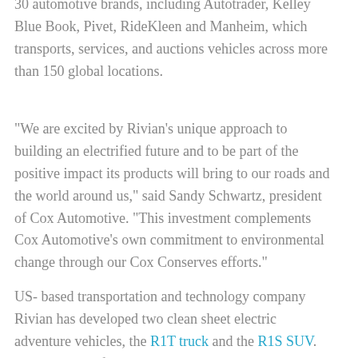30 automotive brands, including Autotrader, Kelley Blue Book, Pivet, RideKleen and Manheim, which transports, services, and auctions vehicles across more than 150 global locations.
"We are excited by Rivian's unique approach to building an electrified future and to be part of the positive impact its products will bring to our roads and the world around us," said Sandy Schwartz, president of Cox Automotive. "This investment complements Cox Automotive's own commitment to environmental change through our Cox Conserves efforts."
US- based transportation and technology company Rivian has developed two clean sheet electric adventure vehicles, the R1T truck and the R1S SUV. Designed on a flexible